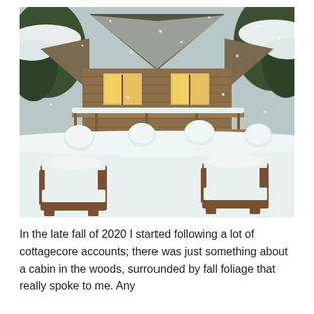[Figure (photo): A snow-covered A-frame cabin in the woods with two wooden Adirondack chairs in the foreground, both heavily blanketed with snow. Several large snowballs are visible in the yard. Snow is actively falling. The cabin has warm lights visible through its windows and a wooden deck with railings.]
In the late fall of 2020 I started following a lot of cottagecore accounts; there was just something about a cabin in the woods, surrounded by fall foliage that really spoke to me.  Any